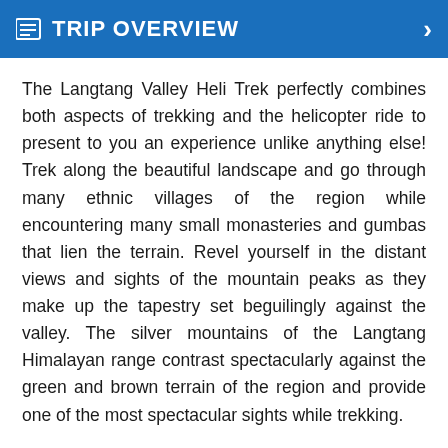TRIP OVERVIEW
The Langtang Valley Heli Trek perfectly combines both aspects of trekking and the helicopter ride to present to you an experience unlike anything else! Trek along the beautiful landscape and go through many ethnic villages of the region while encountering many small monasteries and gumbas that lien the terrain. Revel yourself in the distant views and sights of the mountain peaks as they make up the tapestry set beguilingly against the valley. The silver mountains of the Langtang Himalayan range contrast spectacularly against the green and brown terrain of the region and provide one of the most spectacular sights while trekking.
Start the trek from Kathmandu with a drive to Syabru Bendi, all the while enjoying the countryside and the